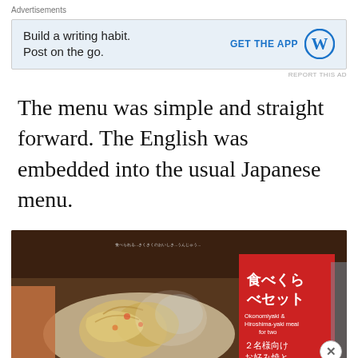Advertisements
[Figure (screenshot): Advertisement banner: 'Build a writing habit. Post on the go.' with GET THE APP button and WordPress logo on light blue background]
REPORT THIS AD
The menu was simple and straight forward. The English was embedded into the usual Japanese menu.
[Figure (photo): Photo of a Japanese restaurant menu showing food items including okonomiyaki, with a red sign showing Japanese text and English text 'Okonomiyaki & Hiroshima-yaki meal for two' and '2名様向け お好み焼と']
Advertisements
[Figure (screenshot): WooCommerce advertisement: 'How to start selling subscriptions online' with WooCommerce logo, green arrow, and decorative orange and blue shapes]